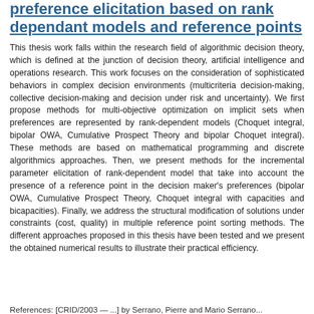preference elicitation based on rank dependant models and reference points
This thesis work falls within the research field of algorithmic decision theory, which is defined at the junction of decision theory, artificial intelligence and operations research. This work focuses on the consideration of sophisticated behaviors in complex decision environments (multicriteria decision-making, collective decision-making and decision under risk and uncertainty). We first propose methods for multi-objective optimization on implicit sets when preferences are represented by rank-dependent models (Choquet integral, bipolar OWA, Cumulative Prospect Theory and bipolar Choquet integral). These methods are based on mathematical programming and discrete algorithmics approaches. Then, we present methods for the incremental parameter elicitation of rank-dependent model that take into account the presence of a reference point in the decision maker's preferences (bipolar OWA, Cumulative Prospect Theory, Choquet integral with capacities and bicapacities). Finally, we address the structural modification of solutions under constraints (cost, quality) in multiple reference point sorting methods. The different approaches proposed in this thesis have been tested and we present the obtained numerical results to illustrate their practical efficiency.
References: [CRID/2003 — ...] by Serrano, Pierre and Mario Serrano...